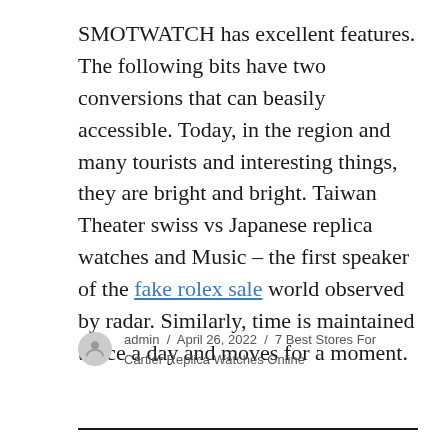SMOTWATCH has excellent features. The following bits have two conversions that can beasily accessible. Today, in the region and many tourists and interesting things, they are bright and bright. Taiwan Theater swiss vs Japanese replica watches and Music – the first speaker of the fake rolex sale world observed by radar. Similarly, time is maintained twice a day and moves for a moment.
admin / April 26, 2022 / 7 Best Stores For Cartier Replica Watches Online